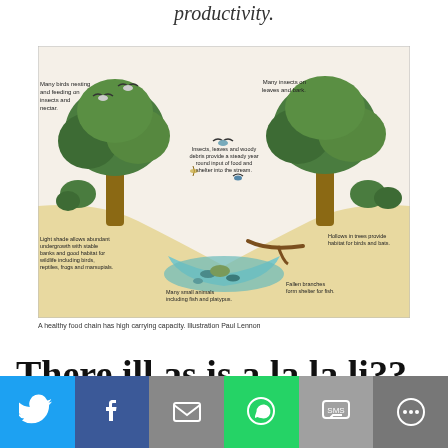productivity.
[Figure (illustration): Illustrated diagram of a healthy riparian food chain showing two large trees flanking a stream. Labels indicate: Many birds nesting and feeding on insects and nectar (top left); Many insects on leaves and bark (top right); Insects, leaves and woody debris provide a steady year round input of food and shelter into the stream (center); Light shade allows abundant undergrowth with stable banks and good habitat for wildlife including birds, reptiles, frogs and marsupials (bottom left); Many small animals including fish and platypus (bottom center); Fallen branches form shelter for fish (bottom right); Hollows in trees provide habitat for birds and bats (bottom far right).]
A healthy food chain has high carrying capacity. Illustration Paul Lennon
There will as is a la la li??